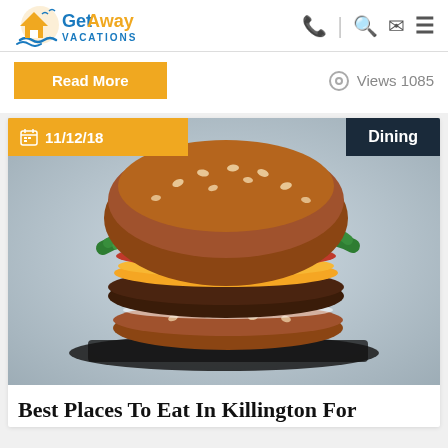GetAway Vacations
Read More   Views 1085
[Figure (photo): A gourmet burger with sesame-seed bun, beef patty, melted cheese, tomato, and green lettuce on a dark slate board, with a blurred background. Overlay tags show date '11/12/18' and category 'Dining'.]
Best Places To Eat In Killington For